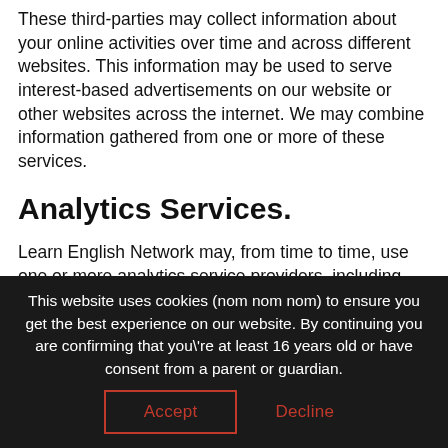These third-parties may collect information about your online activities over time and across different websites. This information may be used to serve interest-based advertisements on our website or other websites across the internet. We may combine information gathered from one or more of these services.
Analytics Services.
Learn English Network may, from time to time, use one or more analytics service providers, including, for example, Google or Facebook. Learn English Network may use the following Google analytics features: AdWords, Remarketing, Google Display Network Impression Reporting, DoubleClick,
This website uses cookies (nom nom nom) to ensure you get the best experience on our website. By continuing you are confirming that you\'re at least 16 years old or have consent from a parent or guardian.